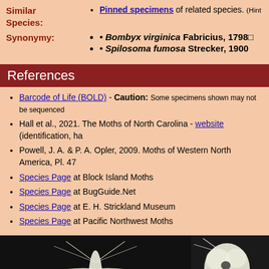Similar Species: Pinned specimens of related species. (Hint...)
Synonymy: • Bombyx virginica Fabricius, 1798 • Spilosoma fumosa Strecker, 1900
References
Barcode of Life (BOLD) - Caution: Some specimens shown may not be sequenced...
Hall et al., 2021. The Moths of North Carolina - website (identification, ha...)
Powell, J. A. & P. A. Opler, 2009. Moths of Western North America, Pl. 47...
Species Page at Block Island Moths
Species Page at BugGuide.Net
Species Page at E. H. Strickland Museum
Species Page at Pacific Northwest Moths
[Figure (photo): White moth specimen with wings spread, pinned, against dark background]
[Figure (photo): Close-up of white fluffy moth head/body against dark background]